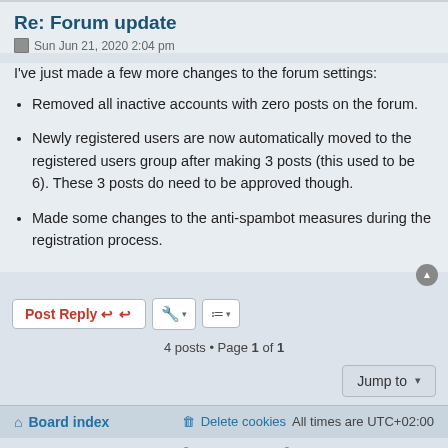Re: Forum update
Sun Jun 21, 2020 2:04 pm
I've just made a few more changes to the forum settings:
Removed all inactive accounts with zero posts on the forum.
Newly registered users are now automatically moved to the registered users group after making 3 posts (this used to be 6). These 3 posts do need to be approved though.
Made some changes to the anti-spambot measures during the registration process.
Post Reply | 4 posts • Page 1 of 1
Jump to
Board index | Delete cookies | All times are UTC+02:00
Powered by phpBB® Forum Software © phpBB Limited | Privacy | Terms